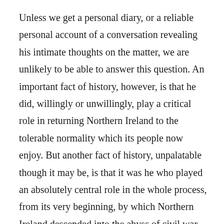Unless we get a personal diary, or a reliable personal account of a conversation revealing his intimate thoughts on the matter, we are unlikely to be able to answer this question. An important fact of history, however, is that he did, willingly or unwillingly, play a critical role in returning Northern Ireland to the tolerable normality which its people now enjoy. But another fact of history, unpalatable though it may be, is that it was he who played an absolutely central role in the whole process, from its very beginning, by which Northern Ireland descended into the abyss of civil war and remained there for over 30 years with the loss of over 3000 lives, many of them totally innocent.

This morning I took from a small archive of cuttings